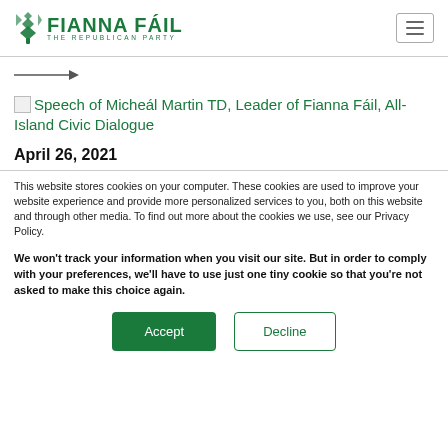[Figure (logo): Fianna Fáil – The Republican Party logo with harp icon and green text]
[Figure (other): Hamburger menu button (three horizontal lines) in a bordered box]
[Figure (other): Right-pointing arrow (breadcrumb navigation indicator)]
Speech of Micheál Martin TD, Leader of Fianna Fáil, All-Island Civic Dialogue
April 26, 2021
This website stores cookies on your computer. These cookies are used to improve your website experience and provide more personalized services to you, both on this website and through other media. To find out more about the cookies we use, see our Privacy Policy.
We won't track your information when you visit our site. But in order to comply with your preferences, we'll have to use just one tiny cookie so that you're not asked to make this choice again.
Accept
Decline